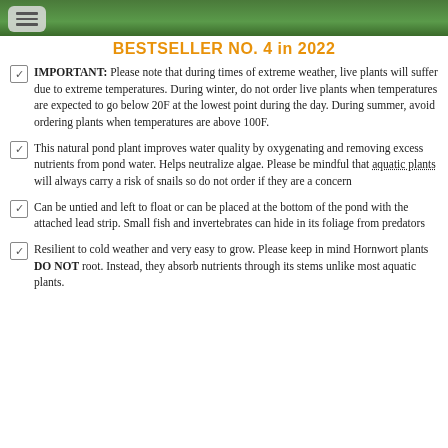[Figure (photo): Green aquatic plants header image with menu button overlay]
BESTSELLER NO. 4 in 2022
IMPORTANT: Please note that during times of extreme weather, live plants will suffer due to extreme temperatures. During winter, do not order live plants when temperatures are expected to go below 20F at the lowest point during the day. During summer, avoid ordering plants when temperatures are above 100F.
This natural pond plant improves water quality by oxygenating and removing excess nutrients from pond water. Helps neutralize algae. Please be mindful that aquatic plants will always carry a risk of snails so do not order if they are a concern
Can be untied and left to float or can be placed at the bottom of the pond with the attached lead strip. Small fish and invertebrates can hide in its foliage from predators
Resilient to cold weather and very easy to grow. Please keep in mind Hornwort plants DO NOT root. Instead, they absorb nutrients through its stems unlike most aquatic plants.